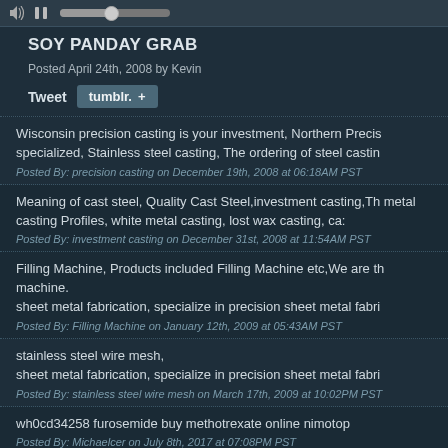[Figure (screenshot): Video player controls bar with volume icon, pause button, and progress slider]
SOY PANDAY GRAB
Posted April 24th, 2008 by Kevin
Tweet  tumblr. +
Wisconsin precision casting is your investment, Northern Precis specialized, Stainless steel casting, The ordering of steel castin
Posted By: precision casting on December 19th, 2008 at 06:18AM PST
Meaning of cast steel, Quality Cast Steel,investment casting,Th metal casting Profiles, white metal casting, lost wax casting, ca
Posted By: investment casting on December 31st, 2008 at 11:54AM PST
Filling Machine, Products included Filling Machine etc,We are th machine.
sheet metal fabrication, specialize in precision sheet metal fabri
Posted By: Filling Machine on January 12th, 2009 at 05:43AM PST
stainless steel wire mesh,
sheet metal fabrication, specialize in precision sheet metal fabr
Posted By: stainless steel wire mesh on March 17th, 2009 at 10:02PM PST
wh0cd34258 furosemide buy methotrexate online nimotop
Posted By: Michaelcer on July 8th, 2017 at 07:08PM PST